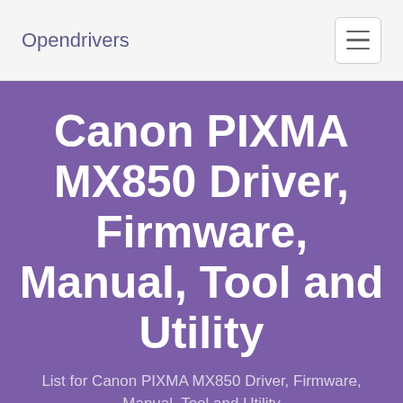Opendrivers
Canon PIXMA MX850 Driver, Firmware, Manual, Tool and Utility
List for Canon PIXMA MX850 Driver, Firmware, Manual, Tool and Utility
Search brand and model